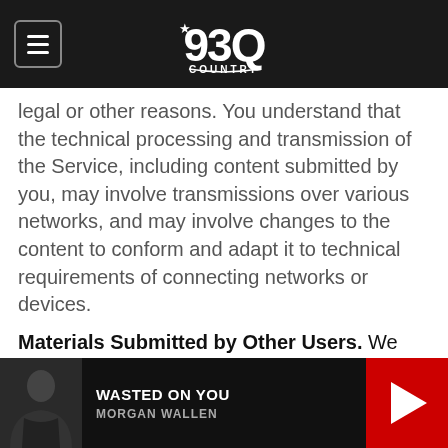93Q Country — Navigation header with logo
legal or other reasons. You understand that the technical processing and transmission of the Service, including content submitted by you, may involve transmissions over various networks, and may involve changes to the content to conform and adapt it to technical requirements of connecting networks or devices.
Materials Submitted by Other Users. We cannot and do not review every posting made in any chat rooms, forums, and other areas available for public postings we may provide. You may well read any given posting before anyone on our staff does. Take what you find with a grain of salt. You can expect these areas to include information and opinions from a variety of
[Figure (other): Media player bar at bottom showing album art thumbnail, track title WASTED ON YOU by MORGAN WALLEN, and a red play button]